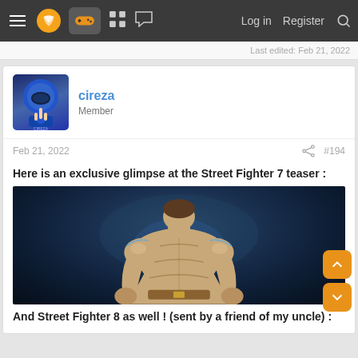Navigation bar with menu, logo, gamepad icon, forum icons, Log in, Register, Search
Last edited: Feb 21, 2022
cireza
Member
Feb 21, 2022   #194
Here is an exclusive glimpse at the Street Fighter 7 teaser :
[Figure (photo): Street Fighter character seen from behind, muscular figure with glowing back details, dark moody background]
And Street Fighter 8 as well ! (sent by a friend of my uncle) :